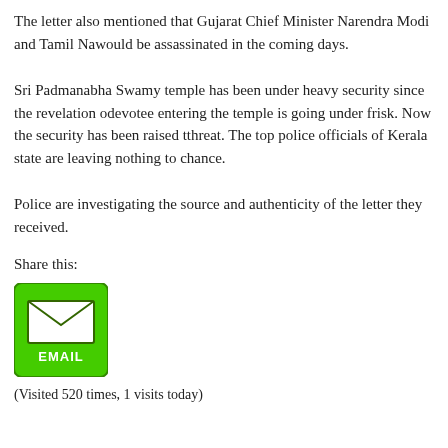The letter also mentioned that Gujarat Chief Minister Narendra Modi and Tamil Na… would be assassinated in the coming days.
Sri Padmanabha Swamy temple has been under heavy security since the revelation o… devotee entering the temple is going under frisk. Now the security has been raised t… threat. The top police officials of Kerala state are leaving nothing to chance.
Police are investigating the source and authenticity of the letter they received.
Share this:
[Figure (other): Green email share button with envelope icon and EMAIL label]
(Visited 520 times, 1 visits today)